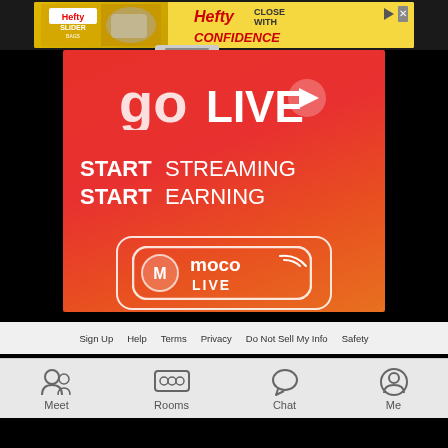[Figure (screenshot): Hefty Slider advertisement banner at top of page]
[Figure (screenshot): MocoLive goLIVE advertisement - red gradient background with text START STREAMING START EARNING and MocoLive logo badge]
Sign Up  Help  Terms  Privacy  Do Not Sell My Info  Safety
[Figure (screenshot): Bottom navigation bar with Meet, Rooms, Chat, Me icons]